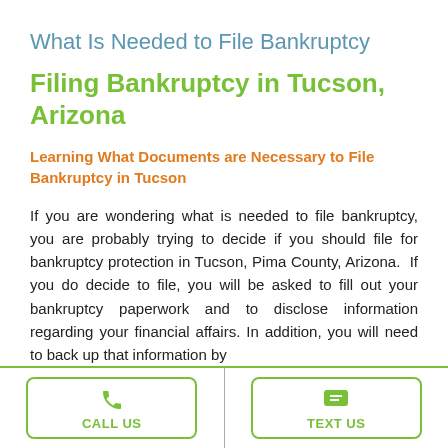What Is Needed to File Bankruptcy
Filing Bankruptcy in Tucson, Arizona
Learning What Documents are Necessary to File Bankruptcy in Tucson
If you are wondering what is needed to file bankruptcy, you are probably trying to decide if you should file for bankruptcy protection in Tucson, Pima County, Arizona.  If you do decide to file, you will be asked to fill out your bankruptcy paperwork and to disclose information regarding your financial affairs. In addition, you will need to back up that information by
CALL US   TEXT US